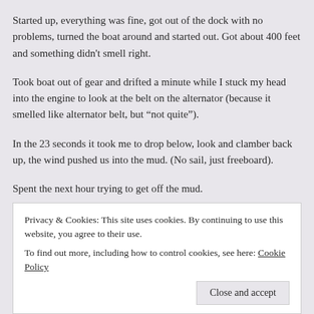Started up, everything was fine, got out of the dock with no problems, turned the boat around and started out. Got about 400 feet and something didn't smell right.
Took boat out of gear and drifted a minute while I stuck my head into the engine to look at the belt on the alternator (because it smelled like alternator belt, but “not quite”).
In the 23 seconds it took me to drop below, look and clamber back up, the wind pushed us into the mud. (No sail, just freeboard).
Spent the next hour trying to get off the mud.
A “nice man” named “Clyde” came by and offered to assist. Tried pulling us
Privacy & Cookies: This site uses cookies. By continuing to use this website, you agree to their use.
To find out more, including how to control cookies, see here: Cookie Policy